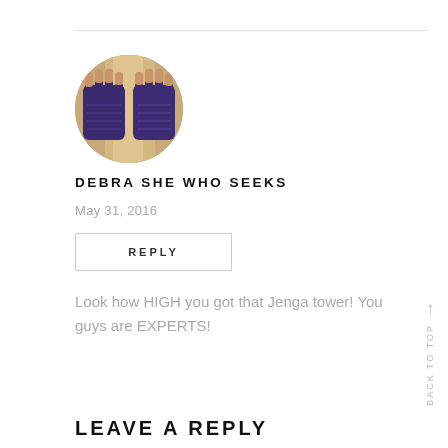[Figure (photo): Circular avatar photo showing purple fingerless knitted gloves held up against a light wooden background]
DEBRA SHE WHO SEEKS
May 31, 2016
REPLY
Look how HIGH you got that Jenga tower! You guys are EXPERTS!
BACK TO TOP
LEAVE A REPLY